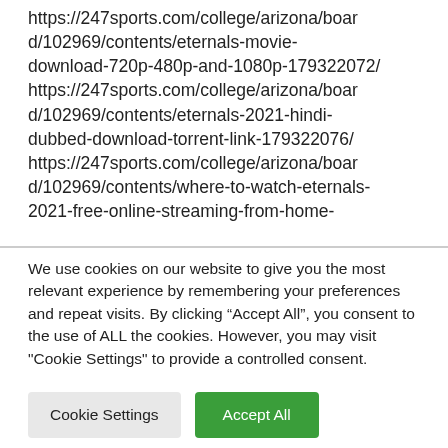https://247sports.com/college/arizona/board/102969/contents/eternals-movie-download-720p-480p-and-1080p-179322072/ https://247sports.com/college/arizona/board/102969/contents/eternals-2021-hindi-dubbed-download-torrent-link-179322076/ https://247sports.com/college/arizona/board/102969/contents/where-to-watch-eternals-2021-free-online-streaming-from-home-
We use cookies on our website to give you the most relevant experience by remembering your preferences and repeat visits. By clicking “Accept All”, you consent to the use of ALL the cookies. However, you may visit "Cookie Settings" to provide a controlled consent.
Cookie Settings
Accept All